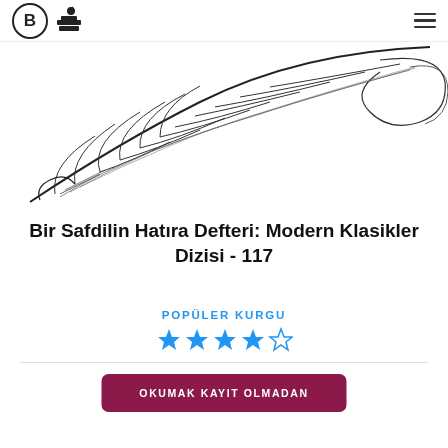[Figure (logo): Letter B in circle with books/apple icon logo and hamburger menu on the right]
[Figure (illustration): Black and white feather/quill illustration with decorative swirling lines]
Bir Safdilin Hatıra Defteri: Modern Klasikler Dizisi - 117
POPÜLER KURGU
[Figure (other): 4 out of 5 star rating — 4 filled blue stars and 1 empty star]
OKUMAK KAYIT OLMADAN